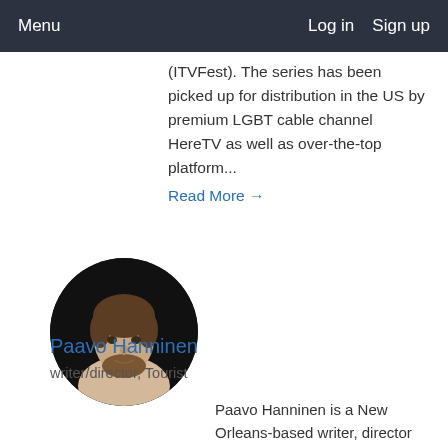Menu  Log in  Sign up
(ITVFest). The series has been picked up for distribution in the US by premium LGBT cable channel HereTV as well as over-the-top platform...
Read More →
[Figure (photo): Circular profile photo of Paavo Hanninen, a man with brown hair and beard against a dark background]
Paavo Hanninen
writer/director, Tourist
Paavo Hanninen is a New Orleans-based writer, director and